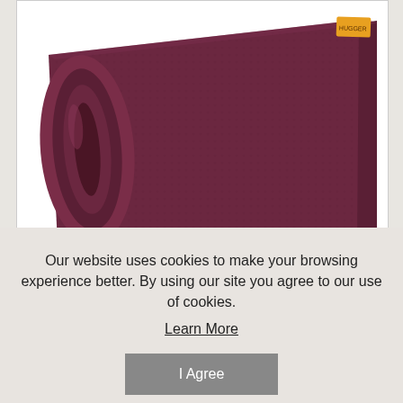[Figure (photo): A rolled-up dark maroon/burgundy yoga mat (Hugger Mugger Tapas Ultra) photographed on a white background. The mat is rolled up showing its textured surface and rolled end. A small yellow/gold label is visible on the upper right corner of the mat.]
Hugger Mugger Tapas Ultra 68 in. Yoga Mat
$46.95
Brand: Hugger Mugger
Our website uses cookies to make your browsing experience better. By using our site you agree to our use of cookies.
Learn More
I Agree